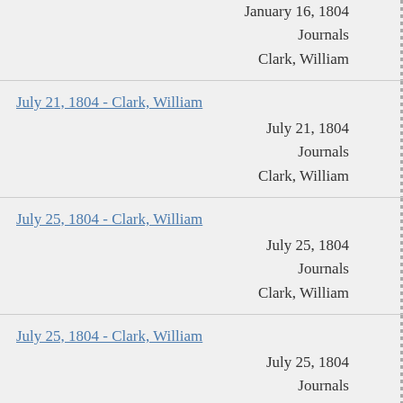January 16, 1804
Journals
Clark, William
July 21, 1804 - Clark, William
July 21, 1804
Journals
Clark, William
July 25, 1804 - Clark, William
July 25, 1804
Journals
Clark, William
July 25, 1804 - Clark, William
July 25, 1804
Journals
Clark, William